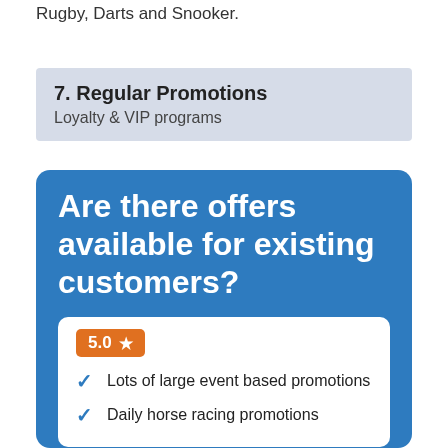Rugby, Darts and Snooker.
7. Regular Promotions
Loyalty & VIP programs
Are there offers available for existing customers?
[Figure (infographic): White card with orange rating badge showing 5.0 star, followed by two checklist items with blue checkmarks: 'Lots of large event based promotions' and 'Daily horse racing promotions']
Lots of large event based promotions
Daily horse racing promotions